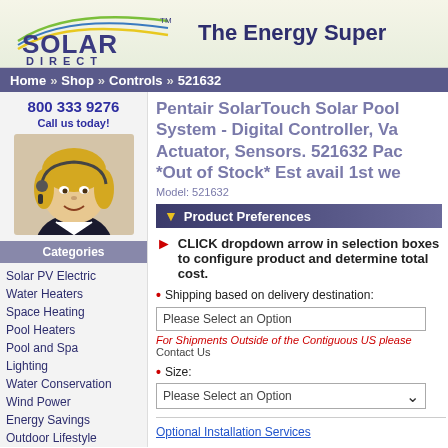[Figure (logo): Solar Direct logo with arc design and TM mark]
The Energy Super
Home » Shop » Controls » 521632
800 333 9276
Call us today!
[Figure (photo): Smiling female customer service agent wearing headset]
Categories
Solar PV Electric
Water Heaters
Space Heating
Pool Heaters
Pool and Spa
Lighting
Water Conservation
Wind Power
Energy Savings
Outdoor Lifestyle
Pentair SolarTouch Solar Pool System - Digital Controller, Va Actuator, Sensors. 521632 Pac *Out of Stock* Est avail 1st we
Model: 521632
Product Preferences
CLICK dropdown arrow in selection boxes to configure product and determine total cost.
Shipping based on delivery destination:
Please Select an Option
For Shipments Outside of the Contiguous US please Contact Us
Size:
Please Select an Option
Optional Installation Services